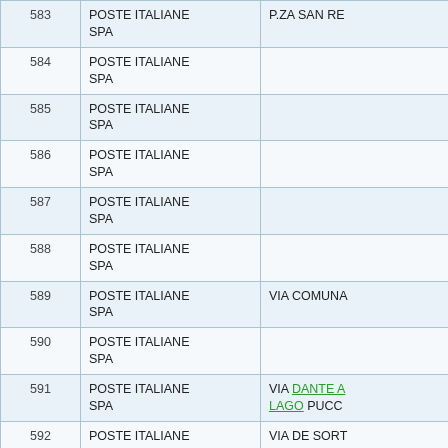| # | Name | Address |
| --- | --- | --- |
| 583 | POSTE ITALIANE SPA | P.ZA SAN RE |
| 584 | POSTE ITALIANE SPA |  |
| 585 | POSTE ITALIANE SPA |  |
| 586 | POSTE ITALIANE SPA |  |
| 587 | POSTE ITALIANE SPA |  |
| 588 | POSTE ITALIANE SPA |  |
| 589 | POSTE ITALIANE SPA | VIA COMUNA |
| 590 | POSTE ITALIANE SPA |  |
| 591 | POSTE ITALIANE SPA | VIA DANTE A LAGO PUCC |
| 592 | POSTE ITALIANE SPA | VIA DE SORT |
| 593 | POSTE ITALIANE |  |